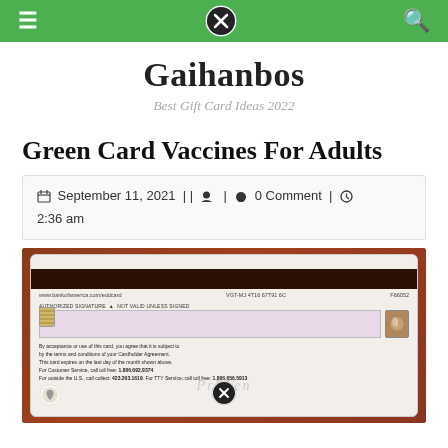Gaihanbos — site navigation header bar
Gaihanbos
Best Gift Card Ideas 2022
Green Card Vaccines For Adults
September 11, 2021 | | [user icon] | [comment icon] 0 Comment | [clock icon] 2:36 am
[Figure (photo): Photo of the back of a Bank of America EDD debit card showing the magnetic stripe, authorized signature area, chip, hologram, and small print with customer service numbers.]